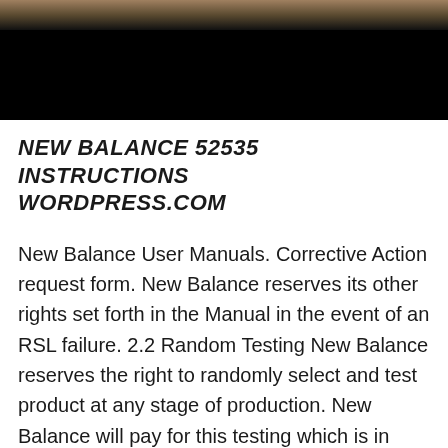[Figure (photo): Partial view of a shoe on a rocky/gravelly surface — top portion shows shoe and ground, bottom portion is solid black bar.]
NEW BALANCE 52535 INSTRUCTIONS WORDPRESS.COM
New Balance User Manuals. Corrective Action request form. New Balance reserves its other rights set forth in the Manual in the event of an RSL failure. 2.2 Random Testing New Balance reserves the right to randomly select and test product at any stage of production. New Balance will pay for this testing which is in addition to the routine quarterly testing. Any failures, New Balance N5 Manuals & User Guides. User Manuals, Guides and Specifications for your